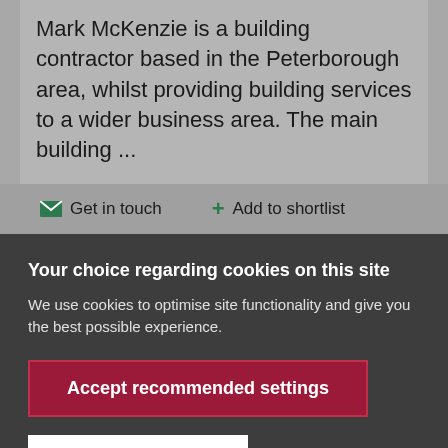Mark McKenzie is a building contractor based in the Peterborough area, whilst providing building services to a wider business area. The main building ...
Get in touch   Add to shortlist
Your choice regarding cookies on this site
We use cookies to optimise site functionality and give you the best possible experience.
Accept recommended settings
Settings